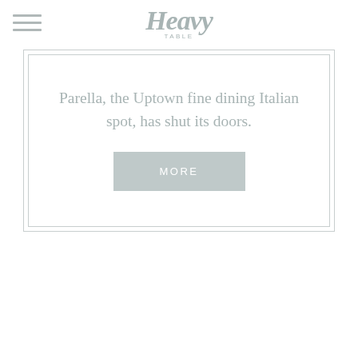Heavy Table
Parella, the Uptown fine dining Italian spot, has shut its doors.
MORE